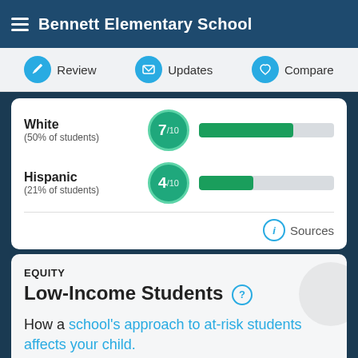Bennett Elementary School
Review
Updates
Compare
White
(50% of students)
7/10
Hispanic
(21% of students)
4/10
Sources
EQUITY
Low-Income Students
How a school's approach to at-risk students affects your child.